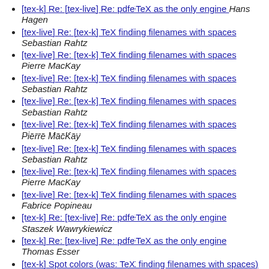[tex-k] Re: [tex-live] Re: pdfeTeX as the only engine  Hans Hagen
[tex-live] Re: [tex-k] TeX finding filenames with spaces  Sebastian Rahtz
[tex-live] Re: [tex-k] TeX finding filenames with spaces  Pierre MacKay
[tex-live] Re: [tex-k] TeX finding filenames with spaces  Sebastian Rahtz
[tex-live] Re: [tex-k] TeX finding filenames with spaces  Sebastian Rahtz
[tex-live] Re: [tex-k] TeX finding filenames with spaces  Pierre MacKay
[tex-live] Re: [tex-k] TeX finding filenames with spaces  Sebastian Rahtz
[tex-live] Re: [tex-k] TeX finding filenames with spaces  Pierre MacKay
[tex-live] Re: [tex-k] TeX finding filenames with spaces  Fabrice Popineau
[tex-k] Re: [tex-live] Re: pdfeTeX as the only engine  Staszek Wawrykiewicz
[tex-k] Re: [tex-live] Re: pdfeTeX as the only engine  Thomas Esser
[tex-k] Spot colors (was: TeX finding filenames with spaces)  Martin Schröder
[tex-k] Re: [tex-live] Re: pdfeTeX as the only engine